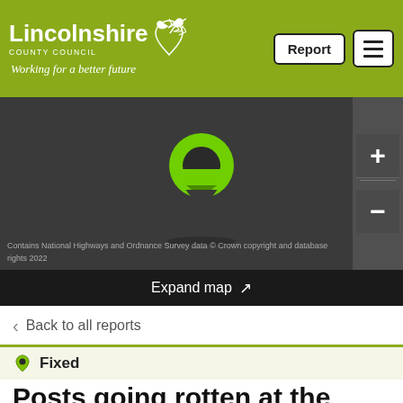Lincolnshire County Council — Working for a better future | Report | Menu
[Figure (map): Dark map with green location pin marker in center. Contains National Highways and Ordnance Survey data © Crown copyright and database rights 2022. Zoom +/- controls on the right side.]
Contains National Highways and Ordnance Survey data © Crown copyright and database rights 2022
Expand map ↗
‹ Back to all reports
Fixed
Posts going rotten at the base
Reported via desktop in the Sign (unlit) category anonymously at